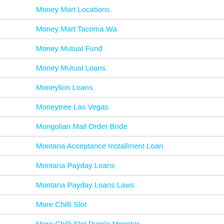Money Mart Locations
Money Mart Tacoma Wa
Money Mutual Fund
Money Mutual Loans
Moneylion Loans
Moneytree Las Vegas
Mongolian Mail Order Bride
Montana Acceptance Installment Loan
Montana Payday Loans
Montana Payday Loans Laws
More Chilli Slot
More Chilli Slot Purple Monster
Moroccan Women